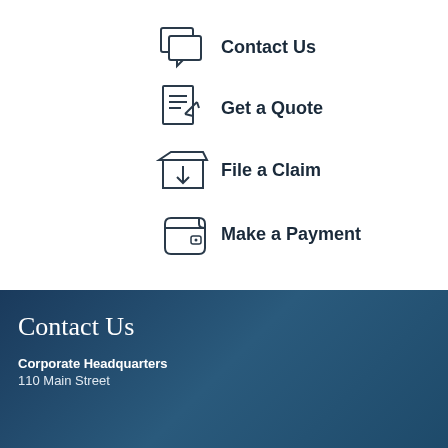Contact Us
Get a Quote
File a Claim
Make a Payment
Contact Us
Corporate Headquarters
110 Main Street